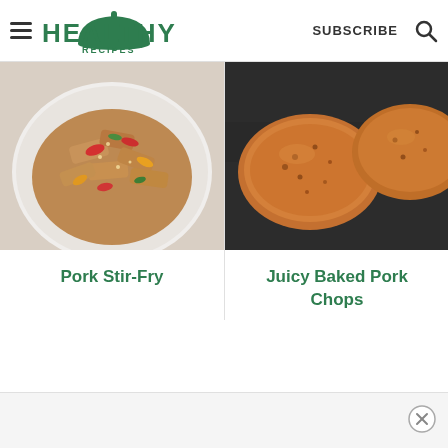HEALTHY RECIPES — SUBSCRIBE
[Figure (photo): Pork stir-fry in a white bowl with sliced peppers and sauce]
Pork Stir-Fry
[Figure (photo): Juicy baked pork chops on a dark pan, golden-brown crust]
Juicy Baked Pork Chops